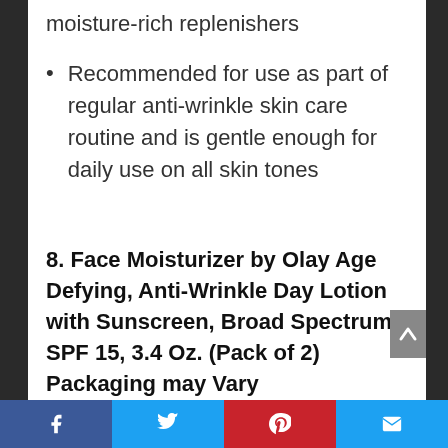moisture-rich replenishers
Recommended for use as part of regular anti-wrinkle skin care routine and is gentle enough for daily use on all skin tones
8. Face Moisturizer by Olay Age Defying, Anti-Wrinkle Day Lotion with Sunscreen, Broad Spectrum , SPF 15, 3.4 Oz. (Pack of 2) Packaging may Vary